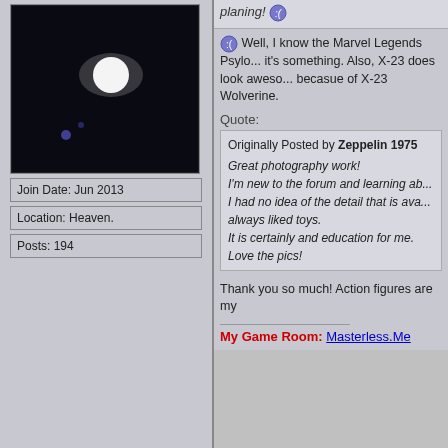[Figure (photo): Dark avatar photo showing a bright light, possibly a UFO or lamp against black background]
Join Date: Jun 2013
Location: Heaven.
Posts: 194
Well, I know the Marvel Legends Psylo... it's something. Also, X-23 does look aweso... becasue of X-23 Wolverine.
Quote:
Originally Posted by Zeppelin 1975
Great photography work!
I'm new to the forum and learning ab...
I had no idea of the detail that is ava... always liked toys.
It is certainly and education for me.
Love the pics!
Thank you so much! Action figures are my
My Game Room: Masterless.Me
06-18-2018, 03:29 PM